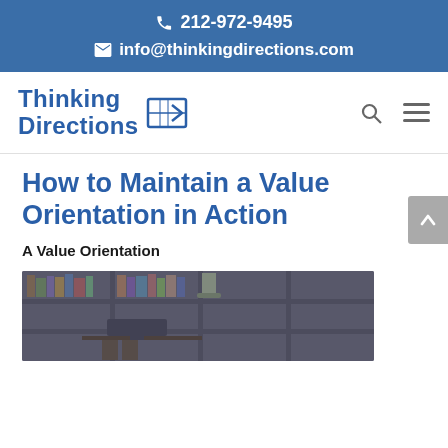📞 212-972-9495
✉ info@thinkingdirections.com
[Figure (logo): Thinking Directions logo with stylized arrow/book icon]
How to Maintain a Value Orientation in Action
A Value Orientation
[Figure (photo): Bookshelf in background with desk and chair in foreground, blurred]